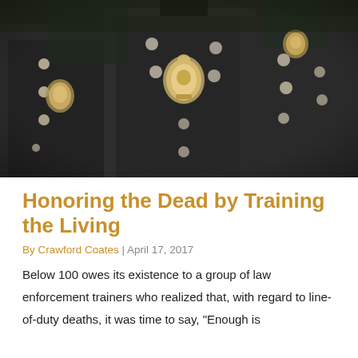[Figure (photo): Close-up photograph of multiple police officers in dark uniforms with badges and buttons, shot from a low angle showing uniform details.]
Honoring the Dead by Training the Living
By Crawford Coates | April 17, 2017
Below 100 owes its existence to a group of law enforcement trainers who realized that, with regard to line-of-duty deaths, it was time to say, "Enough is